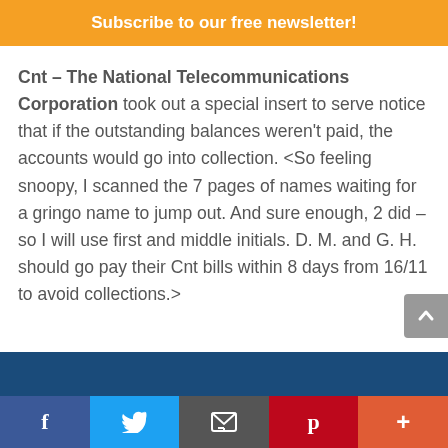Subscribe to our free newsletter!
Cnt – The National Telecommunications Corporation took out a special insert to serve notice that if the outstanding balances weren't paid, the accounts would go into collection. <So feeling snoopy, I scanned the 7 pages of names waiting for a gringo name to jump out. And sure enough, 2 did – so I will use first and middle initials. D. M. and G. H. should go pay their Cnt bills within 8 days from 16/11 to avoid collections.>
f  [twitter]  [email]  p  +